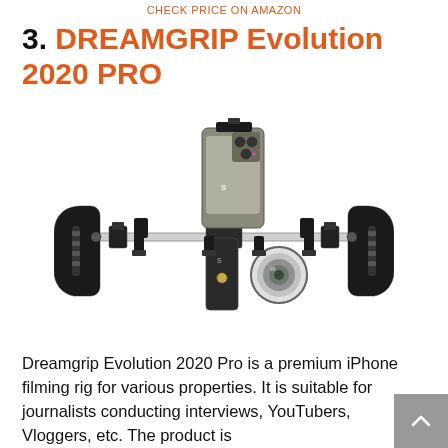CHECK PRICE ON AMAZON
3. DREAMGRIP Evolution 2020 PRO
[Figure (photo): Photo of DREAMGRIP Evolution 2020 Pro iPhone camera rig with dual handles, a phone mount holding an iPhone with triple cameras, a lens attachment, and various mounting accessories on a horizontal rail system.]
Dreamgrip Evolution 2020 Pro is a premium iPhone filming rig for various properties. It is suitable for journalists conducting interviews, YouTubers, Vloggers, etc. The product is